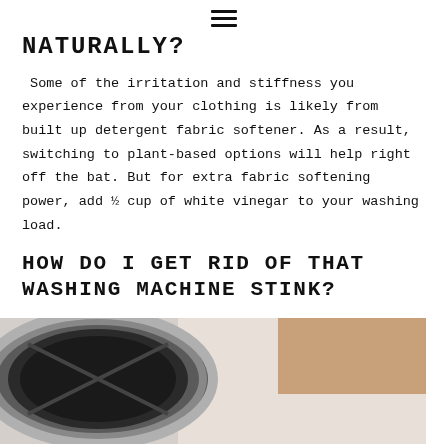≡
NATURALLY?
Some of the irritation and stiffness you experience from your clothing is likely from built up detergent fabric softener. As a result, switching to plant-based options will help right off the bat. But for extra fabric softening power, add ½ cup of white vinegar to your washing load.
HOW DO I GET RID OF THAT WASHING MACHINE STINK?
[Figure (photo): Photo of a person near a front-loading washing machine drum, partially cropped at the bottom of the page.]